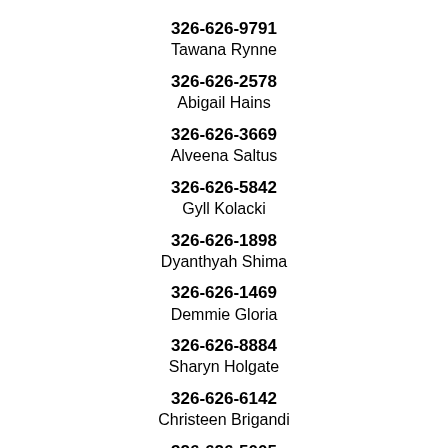326-626-9791
Tawana Rynne
326-626-2578
Abigail Hains
326-626-3669
Alveena Saltus
326-626-5842
Gyll Kolacki
326-626-1898
Dyanthyah Shima
326-626-1469
Demmie Gloria
326-626-8884
Sharyn Holgate
326-626-6142
Christeen Brigandi
326-626-5005